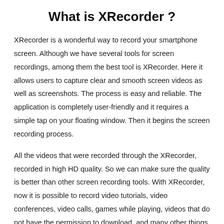What is XRecorder ?
XRecorder is a wonderful way to record your smartphone screen. Although we have several tools for screen recordings, among them the best tool is XRecorder. Here it allows users to capture clear and smooth screen videos as well as screenshots. The process is easy and reliable. The application is completely user-friendly and it requires a simple tap on your floating window. Then it begins the screen recording process.
All the videos that were recorded through the XRecorder, recorded in high HD quality. So we can make sure the quality is better than other screen recording tools. With XRecorder, now it is possible to record video tutorials, video conferences, video calls, games while playing, videos that do not have the permission to download, and many other things on your screen. Here users will not miss live shows, live game moments, and other important moments any